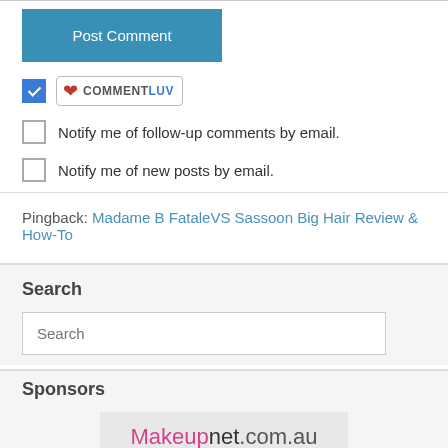Post Comment
[Figure (screenshot): CommentLuv badge with heart icon]
Notify me of follow-up comments by email.
Notify me of new posts by email.
Pingback: Madame B FataleVS Sassoon Big Hair Review & How-To
Search
Search
Sponsors
[Figure (logo): Makeupnet.com.au logo]